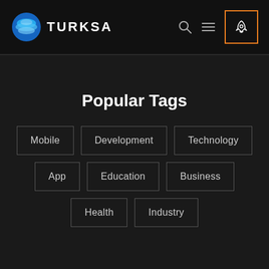TURKSA — navigation header with logo, search, menu, and rocket icon
Popular Tags
Mobile
Development
Technology
App
Education
Business
Health
Industry